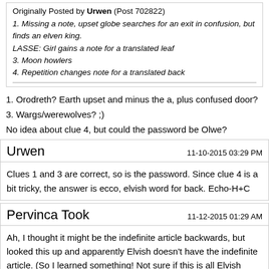Originally Posted by Urwen (Post 702822)
1. Missing a note, upset globe searches for an exit in confusion, but finds an elven king.
LASSE: Girl gains a note for a translated leaf
3. Moon howlers
4. Repetition changes note for a translated back
1. Orodreth? Earth upset and minus the a, plus confused door?
3. Wargs/werewolves? ;)
No idea about clue 4, but could the password be Olwe?
Urwen
11-10-2015 03:29 PM
Clues 1 and 3 are correct, so is the password. Since clue 4 is a bit tricky, the answer is ecco, elvish word for back. Echo-H+C
Pervinca Took
11-12-2015 01:29 AM
Ah, I thought it might be the indefinite article backwards, but looked this up and apparently Elvish doesn't have the indefinite article. (So I learned something! Not sure if this is all Elvish languages, or just one/some, though). Then I thought it might be 'back' in Elvish, but didn't have time to look properly. But kicking myself that I didn't think of